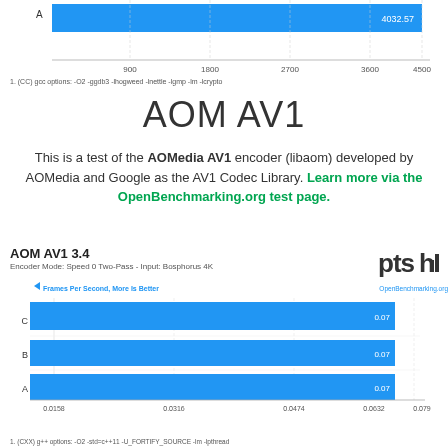[Figure (bar-chart): Top chart (partial)]
1. (CC) gcc options: -O2 -ggdb3 -lhogweed -lnettle -lgmp -lm -lcrypto
AOM AV1
This is a test of the AOMedia AV1 encoder (libaom) developed by AOMedia and Google as the AV1 Codec Library. Learn more via the OpenBenchmarking.org test page.
AOM AV1 3.4
Encoder Mode: Speed 0 Two-Pass - Input: Bosphorus 4K
[Figure (bar-chart): AOM AV1 3.4 - Frames Per Second, More Is Better]
1. (CXX) g++ options: -O2 -std=c++11 -U_FORTIFY_SOURCE -lm -lpthread